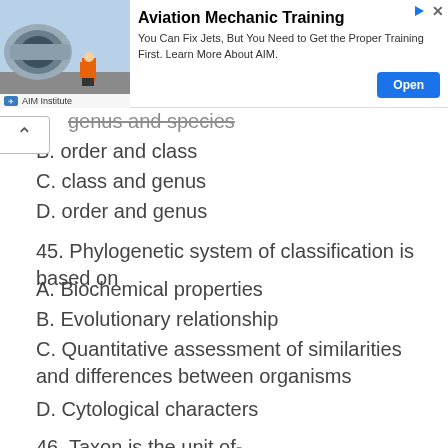[Figure (photo): Advertisement banner for Aviation Mechanic Training by AIM Institute, showing a mechanic in orange suit near a jet engine. Includes 'Open' button.]
genus and species
B. order and class
C. class and genus
D. order and genus
45. Phylogenetic system of classification is based on
A. Biochemical properties
B. Evolutionary relationship
C. Quantitative assessment of similarities and differences between organisms
D. Cytological characters
46. Taxon is the unit of-
A. Taxonomy
B. Genus